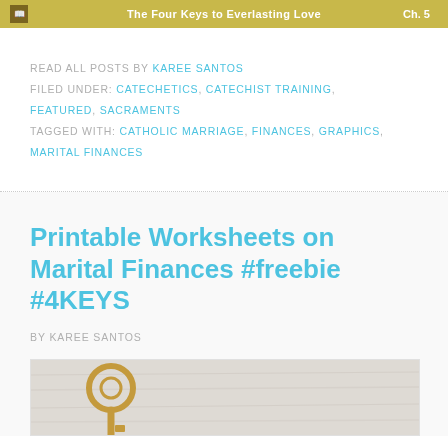The Four Keys to Everlasting Love  Ch. 5
READ ALL POSTS BY KAREE SANTOS
FILED UNDER: CATECHETICS, CATECHIST TRAINING, FEATURED, SACRAMENTS
TAGGED WITH: CATHOLIC MARRIAGE, FINANCES, GRAPHICS, MARITAL FINANCES
Printable Worksheets on Marital Finances #freebie #4KEYS
BY KAREE SANTOS
[Figure (photo): A gold/copper vintage key lying on a light wooden surface]